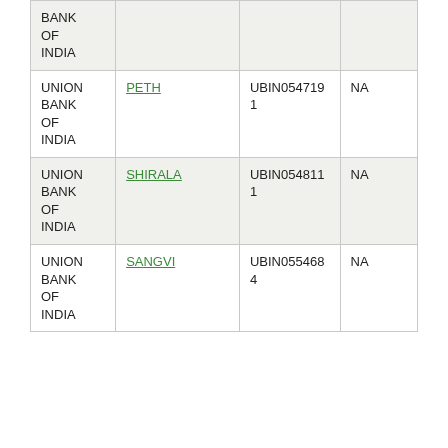| BANK OF INDIA |  |  |  |
| UNION BANK OF INDIA | PETH | UBIN0547191 | NA |
| UNION BANK OF INDIA | SHIRALA | UBIN0548111 | NA |
| UNION BANK OF INDIA | SANGVI | UBIN0554684 | NA |